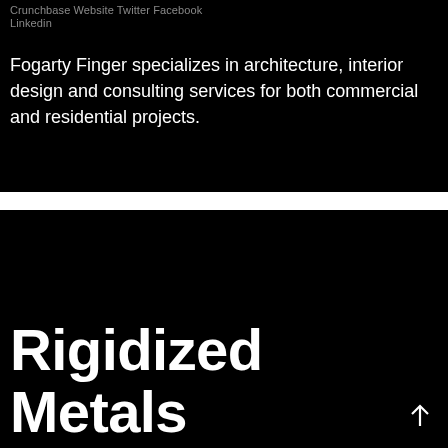Crunchbase Website Twitter Facebook Linkedin
Fogarty Finger specializes in architecture, interior design and consulting services for both commercial and residential projects.
Rigidized Metals